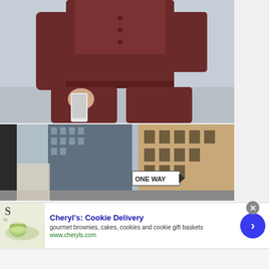[Figure (photo): Person wearing dark maroon/burgundy matching outfit (top and wide-leg pants) walking, holding a white smartphone in one hand. Urban street background.]
[Figure (photo): Urban street scene with tall buildings including glass skyscraper and brick buildings. ONE WAY street sign visible. Infolinks badge overlay in bottom left corner.]
[Figure (other): Advertisement banner for Cheryl's Cookie Delivery. Shows image of green macarons/cookies on left. Text: Cheryl's: Cookie Delivery, gourmet brownies, cakes, cookies and cookie gift baskets, www.cheryls.com. Blue circle arrow button on right.]